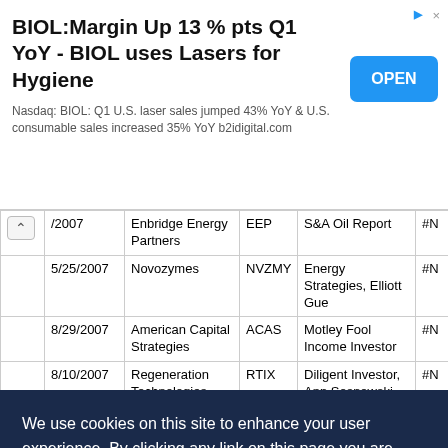[Figure (screenshot): Ad banner: BIOL:Margin Up 13 % pts Q1 YoY - BIOL uses Lasers for Hygiene. Nasdaq: BIOL: Q1 U.S. laser sales jumped 43% YoY & U.S. consumable sales increased 35% YoY b2idigital.com. OPEN button.]
|  | Date | Company | Ticker | Newsletter/Author |  |
| --- | --- | --- | --- | --- | --- |
| ^ | /2007 | Enbridge Energy Partners | EEP | S&A Oil Report | #N |
|  | 5/25/2007 | Novozymes | NVZMY | Energy Strategies, Elliott Gue | #N |
|  | 8/29/2007 | American Capital Strategies | ACAS | Motley Fool Income Investor | #N |
|  | 8/10/2007 | Regeneration Technologies | RTIX | Diligent Investor, Ann Sosnowski | #N |
|  | 12/22/2006 | Lynas | LYSCF | MicroCap HotSheet, Ann Sosnowski | #N |
We use cookies on this site to enhance your user experience. By clicking any link on this page you are giving your consent for us to set cookies.
MORE INFO ›
OK, I AGREE